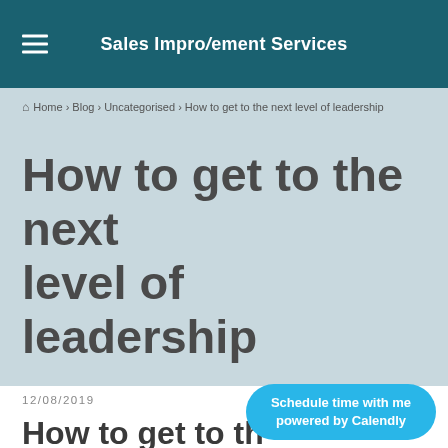Sales Improvement Services
Home › Blog › Uncategorised › How to get to the next level of leadership
How to get to the next level of leadership
12/08/2019
How to get to the next level of leadership